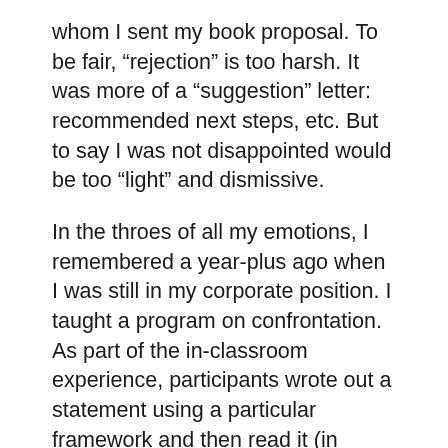whom I sent my book proposal. To be fair, “rejection” is too harsh. It was more of a “suggestion” letter: recommended next steps, etc. But to say I was not disappointed would be too “light” and dismissive.
In the throes of all my emotions, I remembered a year-plus ago when I was still in my corporate position. I taught a program on confrontation. As part of the in-classroom experience, participants wrote out a statement using a particular framework and then read it (in simulation) to the person they were confronting. One part of that “script” was naming their feelings about the situation, the offense, the issue at hand. For example, “When you lied to